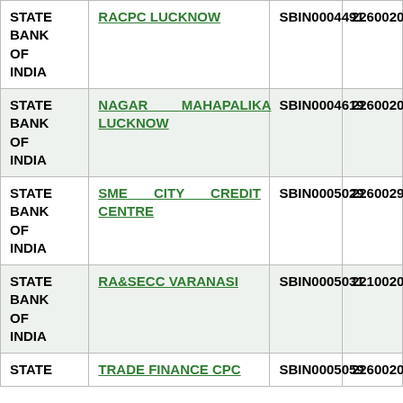| Bank Name | Branch Name | IFSC | MICR |
| --- | --- | --- | --- |
| STATE BANK OF INDIA | RACPC LUCKNOW | SBIN0004491 | 226002047 |
| STATE BANK OF INDIA | NAGAR MAHAPALIKA LUCKNOW | SBIN0004619 | 226002030 |
| STATE BANK OF INDIA | SME CITY CREDIT CENTRE | SBIN0005029 | 226002991 |
| STATE BANK OF INDIA | RA&SECC VARANASI | SBIN0005031 | 221002046 |
| STATE BANK OF INDIA | TRADE FINANCE CPC | SBIN0005059 | 226002098 |